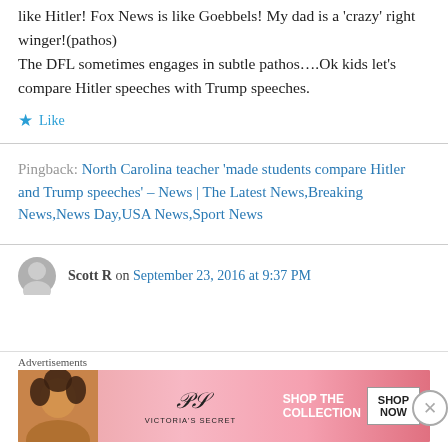like Hitler! Fox News is like Goebbels! My dad is a 'crazy' right winger!(pathos)
The DFL sometimes engages in subtle pathos….Ok kids let's compare Hitler speeches with Trump speeches.
Like
Pingback: North Carolina teacher 'made students compare Hitler and Trump speeches' – News | The Latest News,Breaking News,News Day,USA News,Sport News
Scott R on September 23, 2016 at 9:37 PM
[Figure (advertisement): Victoria's Secret advertisement banner with model, VS logo, 'SHOP THE COLLECTION' text and 'SHOP NOW' button]